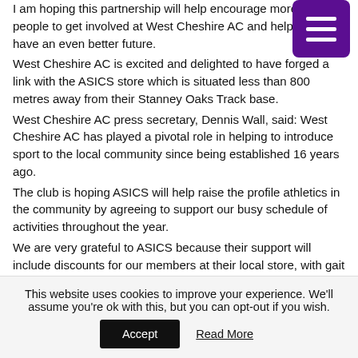I am hoping this partnership will help encourage more local people to get involved at West Cheshire AC and help the club have an even better future.
West Cheshire AC is excited and delighted to have forged a link with the ASICS store which is situated less than 800 metres away from their Stanney Oaks Track base.
West Cheshire AC press secretary, Dennis Wall, said: West Cheshire AC has played a pivotal role in helping to introduce sport to the local community since being established 16 years ago.
The club is hoping ASICS will help raise the profile athletics in the community by agreeing to support our busy schedule of activities throughout the year.
We are very grateful to ASICS because their support will include discounts for our members at their local store, with gait analysis facilities, and a supply of materials for our popular road race promotions.
For the Details Dennis Wall Press Secretary Tel 0151 331 1351...
This website uses cookies to improve your experience. We'll assume you're ok with this, but you can opt-out if you wish.